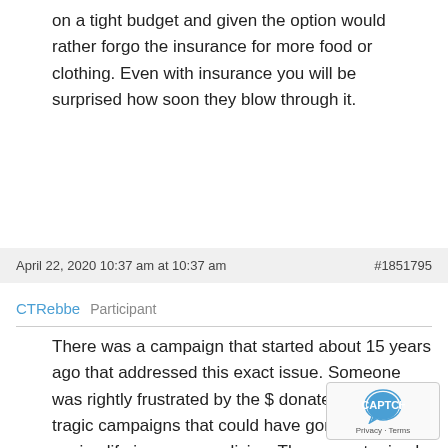on a tight budget and given the option would rather forgo the insurance for more food or clothing. Even with insurance you will be surprised how soon they blow through it.
April 22, 2020 10:37 am at 10:37 am	#1851795
CTRebbe  Participant
There was a campaign that started about 15 years ago that addressed this exact issue. Someone was rightly frustrated by the $ donated by all these tragic campaigns that could have gone instead to paying life insurance policies. The amount raised in one campaign could have paid for thousands of polices (with much more dignity too).
Keep in mind that while all these deaths are tragic, not all campaigns are equal. If an 80-year-old woman...